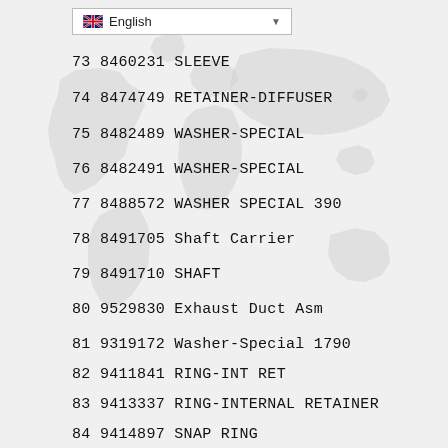[Figure (illustration): World map watermark in light gray as background]
English (language selector dropdown)
73 8460231 SLEEVE
74 8474749 RETAINER-DIFFUSER
75 8482489 WASHER-SPECIAL
76 8482491 WASHER-SPECIAL
77 8488572 WASHER SPECIAL 390
78 8491705 Shaft Carrier
79 8491710 SHAFT
80 9529830 Exhaust Duct Asm
81 9319172 Washer-Special 1790
82 9411841 RING-INT RET
83 9413337 RING-INTERNAL RETAINER
84 9414897 SNAP RING